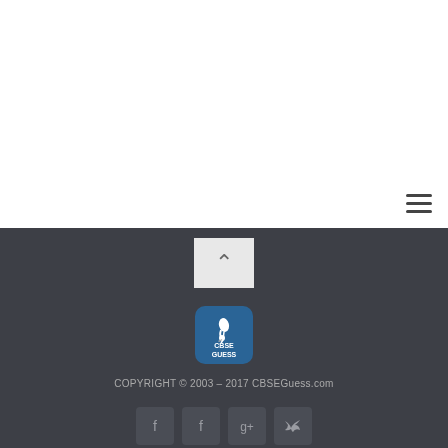[Figure (screenshot): White header/content area of CBSEGuess.com website]
[Figure (logo): Hamburger menu icon (three horizontal lines) in navigation bar]
[Figure (logo): Back to top button with chevron up arrow]
[Figure (logo): CBSE Guess logo - blue square with flamingo bird and text CBSE GUESS]
COPYRIGHT © 2003 - 2017 CBSEGuess.com
[Figure (infographic): Social media icons: Facebook, Facebook, Google+, Twitter]